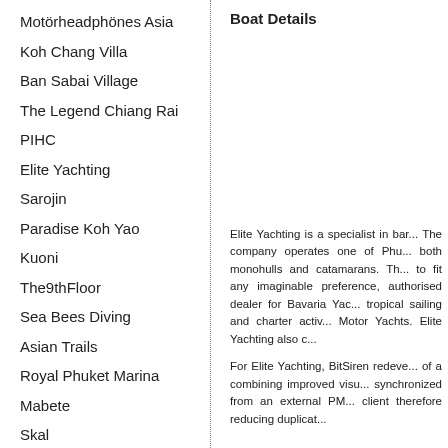Motörheadphönes Asia
Koh Chang Villa
Ban Sabai Village
The Legend Chiang Rai
PIHC
Elite Yachting
Sarojin
Paradise Koh Yao
Kuoni
The9thFloor
Sea Bees Diving
Asian Trails
Royal Phuket Marina
Mabete
Skal
Boat Details
Elite Yachting is a specialist in bar... The company operates one of Phu... both monohulls and catamarans. Th... to fit any imaginable preference, authorised dealer for Bavaria Yac... tropical sailing and charter activ... Motor Yachts. Elite Yachting also c...
For Elite Yachting, BitSiren redeve... of a combining improved visu... synchronized from an external PM... client therefore reducing duplicat...